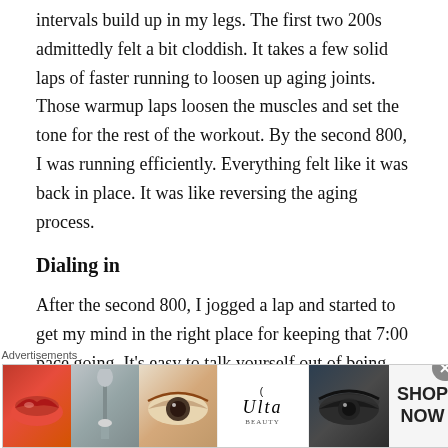intervals build up in my legs. The first two 200s admittedly felt a bit cloddish. It takes a few solid laps of faster running to loosen up aging joints. Those warmup laps loosen the muscles and set the tone for the rest of the workout. By the second 800, I was running efficiently. Everything felt like it was back in place. It was like reversing the aging process.
Dialing in
After the second 800, I jogged a lap and started to get my mind in the right place for keeping that 7:00 pace going. It's easy to talk yourself out of being able to handle a target pace on a longer interval. So I said it out loud: “You
[Figure (other): Ulta Beauty advertisement banner showing makeup imagery (lips, makeup brush, eye with eyeshadow, Ulta logo, smokey eye) with SHOP NOW call to action]